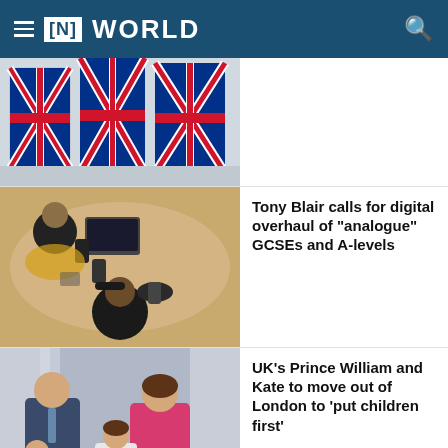[N] WORLD
[Figure (photo): British Airways aircraft tails showing Union Jack livery, partial view at top of page]
[Figure (photo): Overhead view of students or workers at a table using laptops and smartphones]
Tony Blair calls for digital overhaul of "analogue" GCSEs and A-levels
[Figure (photo): UK's Prince William and Kate with children on a balcony, woman in pink dress]
UK's Prince William and Kate to move out of London to 'put children first'